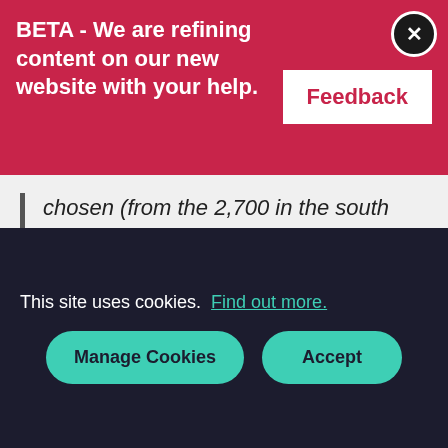BETA - We are refining content on our new website with your help.
chosen (from the 2,700 in the south west and of 37,000 across the country)."
Linking in with the Year of Engineering – a national campaign to inspire the next generation of engineers – DE&S launched the south west Primary Engineer and Secondary Engineer
This site uses cookies. Find out more. Manage Cookies Accept